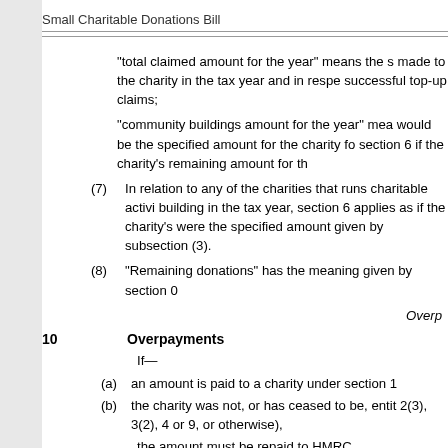Small Charitable Donations Bill
“total claimed amount for the year” means the s made to the charity in the tax year and in respe successful top-up claims;
“community buildings amount for the year” mea would be the specified amount for the charity fo section 6 if the charity’s remaining amount for th
(7) In relation to any of the charities that runs charitable activi building in the tax year, section 6 applies as if the charity’s were the specified amount given by subsection (3).
(8) “Remaining donations” has the meaning given by section 0
Overp
10    Overpayments
If—
(a) an amount is paid to a charity under section 1
(b) the charity was not, or has ceased to be, entit 2(3), 3(2), 4 or 9, or otherwise),
the amount must be repaid to HMRC.
11    Management of top-up payments
(1) Matters relating to top-up payments are to be under the m